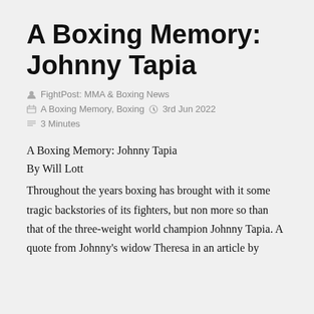A Boxing Memory: Johnny Tapia
FightPost: MMA & Boxing News
A Boxing Memory, Boxing   3rd Jun 2022
3 Minutes
A Boxing Memory: Johnny Tapia
By Will Lott
Throughout the years boxing has brought with it some tragic backstories of its fighters, but non more so than that of the three-weight world champion Johnny Tapia. A quote from Johnny's widow Theresa in an article by